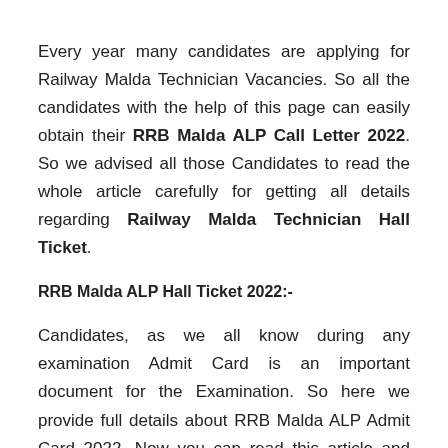Every year many candidates are applying for Railway Malda Technician Vacancies. So all the candidates with the help of this page can easily obtain their RRB Malda ALP Call Letter 2022. So we advised all those Candidates to read the whole article carefully for getting all details regarding Railway Malda Technician Hall Ticket.
RRB Malda ALP Hall Ticket 2022:-
Candidates, as we all know during any examination Admit Card is an important document for the Examination. So here we provide full details about RRB Malda ALP Admit Card 2022. Now you can read this article and follow the step-by-step process